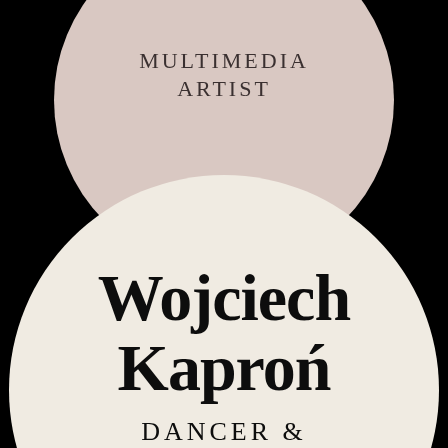[Figure (illustration): Graphic design / poster for Wojciech Kaproń, multimedia artist, dancer & choreographer. Black background with two circles: a smaller dusty-rose/mauve circle at the top containing the text 'MULTIMEDIA ARTIST', and a large off-white/cream circle in the lower half containing the bold serif name 'Wojciech Kaproń' and the text 'DANCER &' at the bottom.]